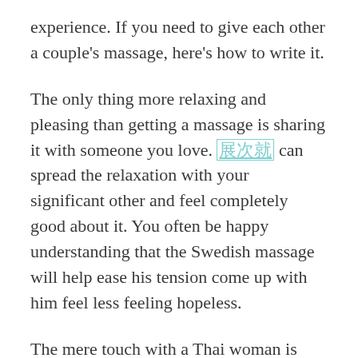experience. If you need to give each other a couple's massage, here's how to write it.
The only thing more relaxing and pleasing than getting a massage is sharing it with someone you love. [???????] can spread the relaxation with your significant other and feel completely good about it. You often be happy understanding that the Swedish massage will help ease his tension come up with him feel less feeling hopeless.
The mere touch with a Thai woman is quite like a butterfly settling you. A silky touch which alone engenders a a sense of well growing to be. Traditional Thai massage performed with Thai woman is a sensual experience not end up being missed.